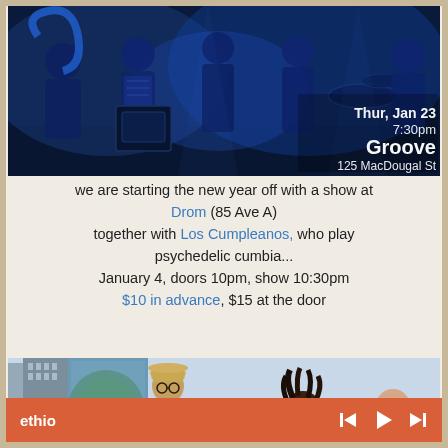[Figure (photo): Blue-tinted photo of a band performing on stage with text overlay: Thur, Jan 23 / 7:30pm / Groove / 125 MacDougal St]
we are starting the new year off with a show at Drom (85 Ave A) together with Los Cumpleanos, who play psychedelic cumbia... January 4, doors 10pm, show 10:30pm $10 in advance, $15 at the door
[Figure (photo): Photo of musicians including a man with a hat playing saxophone and other band members, with Underground Horns logo overlay]
ethio  [player controls: skip back, play, skip forward]